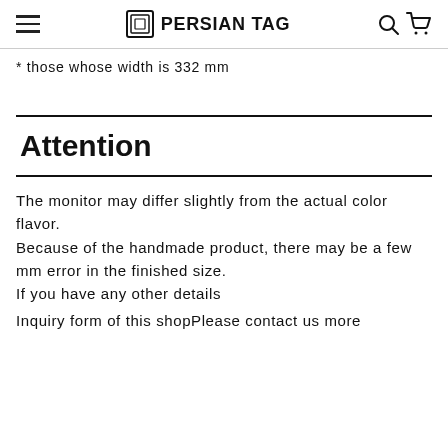PERSIAN TAG
* those whose width is 332 mm
Attention
The monitor may differ slightly from the actual color flavor.
Because of the handmade product, there may be a few mm error in the finished size.
If you have any other details
Inquiry form of this shopPlease contact us more
Inquiry form of this shopPlease contact us more